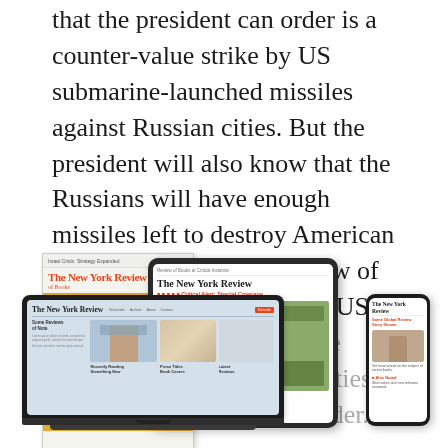that the president can order is a counter-value strike by US submarine-launched missiles against Russian cities. But the president will also know that the Russians will have enough missiles left to destroy American cities. Therefore, in the view of the Defense Department, a US president contemplating the certain destruction of his cities might well prefer to surrender.5
[Figure (illustration): Promotional image showing The New York Review of Books in multiple formats: a print magazine cover with orange artwork, a tablet displaying digital edition, a laptop showing the website, and a smartphone showing the mobile site.]